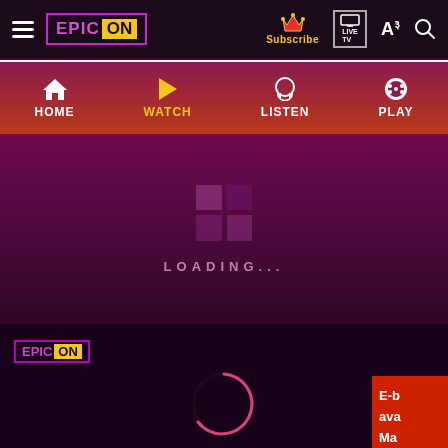[Figure (screenshot): EpicOn streaming platform app screenshot showing navigation header with logo, Subscribe button, LIVE TV, language switcher, and search icons. Secondary nav shows HOME, WATCH (active in orange), LISTEN, PLAY. Main area shows loading state with Windows-style grid icon, LOADING... text, spinner, small EpicOn logo bottom-left, and partial red popup on right with text starting 'E-b ava Ma on we co oth']
EPIC ON | Subscribe | LIVE TV | A३ | Search
HOME | WATCH | LISTEN | PLAY
LOADING...
E-b ava Ma on we co oth